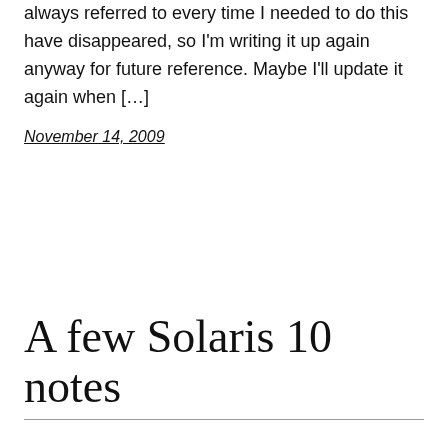always referred to every time I needed to do this have disappeared, so I'm writing it up again anyway for future reference. Maybe I'll update it again when […]
November 14, 2009
A few Solaris 10 notes